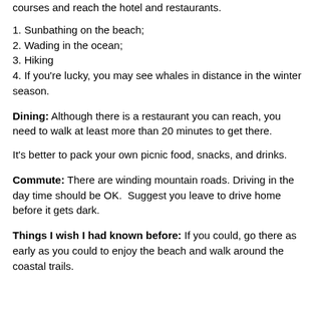courses and reach the hotel and restaurants.
1. Sunbathing on the beach;
2. Wading in the ocean;
3. Hiking
4. If you're lucky, you may see whales in distance in the winter season.
Dining: Although there is a restaurant you can reach, you need to walk at least more than 20 minutes to get there.
It's better to pack your own picnic food, snacks, and drinks.
Commute: There are winding mountain roads. Driving in the day time should be OK.  Suggest you leave to drive home before it gets dark.
Things I wish I had known before: If you could, go there as early as you could to enjoy the beach and walk around the coastal trails.